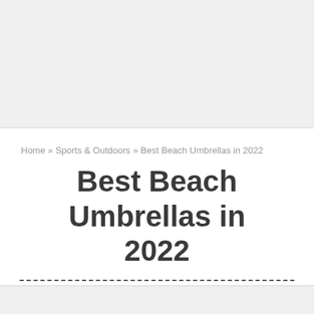[Figure (photo): Gray placeholder hero image area at top of page]
Home » Sports & Outdoors » Best Beach Umbrellas in 2022
Best Beach Umbrellas in 2022
by adminBoth on June 24, 2021 in Sports & Outdoors, Tools & Gardening